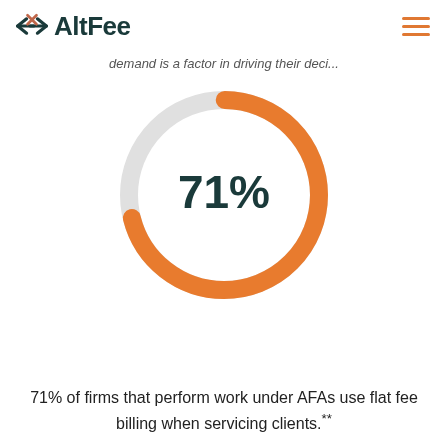AltFee
demand is a factor in driving their deci...
[Figure (donut-chart): 71%]
71% of firms that perform work under AFAs use flat fee billing when servicing clients.**